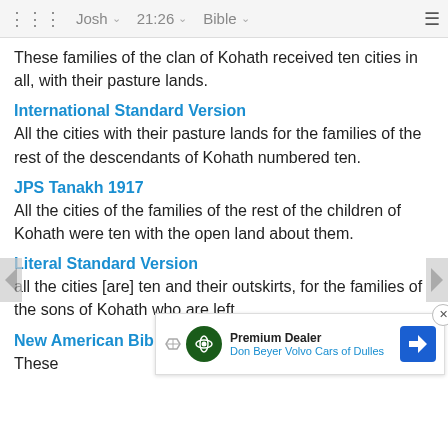Josh 21:26 Bible
These families of the clan of Kohath received ten cities in all, with their pasture lands.
International Standard Version
All the cities with their pasture lands for the families of the rest of the descendants of Kohath numbered ten.
JPS Tanakh 1917
All the cities of the families of the rest of the children of Kohath were ten with the open land about them.
Literal Standard Version
all the cities [are] ten and their outskirts, for the families of the sons of Kohath who are left.
New American Bible
These ... nged to the ...
[Figure (other): Advertisement banner: Premium Dealer, Don Beyer Volvo Cars of Dulles, Land Rover logo, navigation arrow icon]